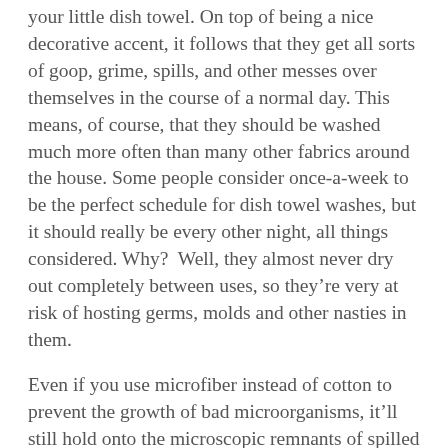your little dish towel. On top of being a nice decorative accent, it follows that they get all sorts of goop, grime, spills, and other messes over themselves in the course of a normal day. This means, of course, that they should be washed much more often than many other fabrics around the house. Some people consider once-a-week to be the perfect schedule for dish towel washes, but it should really be every other night, all things considered. Why?  Well, they almost never dry out completely between uses, so they're very at risk of hosting germs, molds and other nasties in them.
Even if you use microfiber instead of cotton to prevent the growth of bad microorganisms, it'll still hold onto the microscopic remnants of spilled food, liquids and such. If you want to go the extra step and the step doesn't fall far